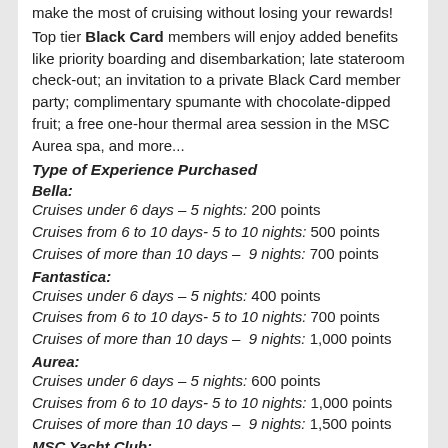make the most of cruising without losing your rewards!
Top tier Black Card members will enjoy added benefits like priority boarding and disembarkation; late stateroom check-out; an invitation to a private Black Card member party; complimentary spumante with chocolate-dipped fruit; a free one-hour thermal area session in the MSC Aurea spa, and more...
Type of Experience Purchased
Bella:
Cruises under 6 days – 5 nights: 200 points
Cruises from 6 to 10 days- 5 to 10 nights: 500 points
Cruises of more than 10 days – 9 nights: 700 points
Fantastica:
Cruises under 6 days – 5 nights: 400 points
Cruises from 6 to 10 days- 5 to 10 nights: 700 points
Cruises of more than 10 days – 9 nights: 1,000 points
Aurea:
Cruises under 6 days – 5 nights: 600 points
Cruises from 6 to 10 days- 5 to 10 nights: 1,000 points
Cruises of more than 10 days – 9 nights: 1,500 points
MSC Yacht Club:
Cruises under 6 days – 5 nights: 800 points